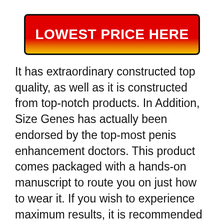[Figure (other): Red-to-yellow gradient button with bold white text reading LOWEST PRICE HERE]
It has extraordinary constructed top quality, as well as it is constructed from top-notch products. In Addition, Size Genes has actually been endorsed by the top-most penis enhancement doctors. This product comes packaged with a hands-on manuscript to route you on just how to wear it. If you wish to experience maximum results, it is recommended that you use it for 6 to 12 hrs daily. You can also gin effective results when you utilize it for 4 to 6 hours every day. To experience optimal gain, producers advise that you wear it for five days of the week in